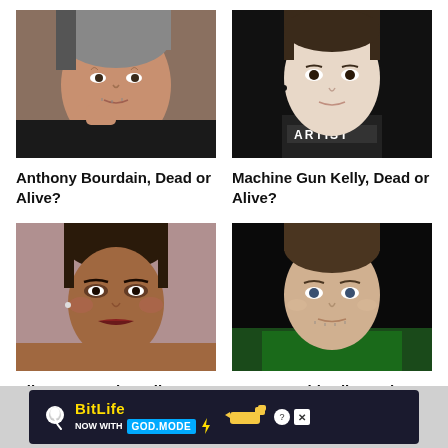[Figure (photo): Photo of Anthony Bourdain, a middle-aged man with grey hair resting his chin on his hand]
[Figure (photo): Photo of Machine Gun Kelly, a young man wearing a shirt with 'ARTIST' text]
Anthony Bourdain, Dead or Alive?
Machine Gun Kelly, Dead or Alive?
[Figure (photo): Photo of Rihanna, a woman with her hair up, wearing glamour makeup]
[Figure (photo): Photo of Tommy Caldwell, a man in a green jacket against a dark background]
Rihanna, Dead or Alive?
Tommy Caldwell, Dead
[Figure (infographic): BitLife advertisement banner: NOW WITH GOD MODE, with sperm logo and hand pointing emoji, help and close buttons]